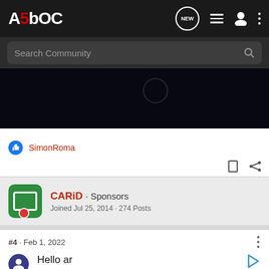A5OC · NEW · Search Community
[Figure (screenshot): Dark banner image with faint circular emblem on the right]
👍 SimonRoma
CARiD · Sponsors
Joined Jul 25, 2014 · 274 Posts
#4 · Feb 1, 2022
Hello ar
of kno
Plenty
motiv